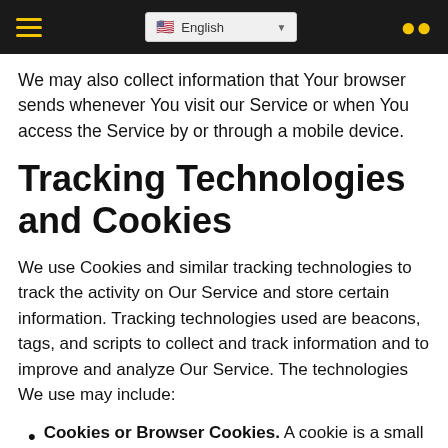Navigation bar with hamburger menu, English language selector, and search icon
We may also collect information that Your browser sends whenever You visit our Service or when You access the Service by or through a mobile device.
Tracking Technologies and Cookies
We use Cookies and similar tracking technologies to track the activity on Our Service and store certain information. Tracking technologies used are beacons, tags, and scripts to collect and track information and to improve and analyze Our Service. The technologies We use may include:
Cookies or Browser Cookies. A cookie is a small file placed on Your Device. You can instruct Your browser to refuse all Cookies or to indicate when a